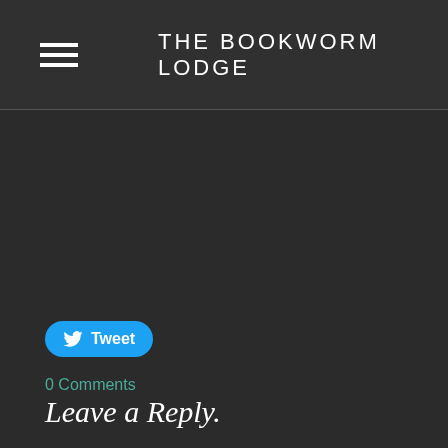THE BOOKWORM LODGE
Tweet
0 Comments
Leave a Reply.